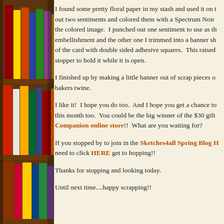[Figure (photo): Bookshelf with colorful books visible on the left side of the page as a decorative sidebar]
I found some pretty floral paper in my stash and used it on t... out two sentiments and colored them with a Spectrum Noir the colored image.  I punched out one sentiment to use as th embellishment and the other one I trimmed into a banner sh of the card with double sided adhesive squares.  This raised stopper to hold it while it is open.
I finished up by making a little banner out of scrap pieces o bakers twine.
I like it!  I hope you do too.  And I hope you get a chance to this month too.  You could be the big winner of the $30 gift Companion online store!!  What are you waiting for?
If you stopped by to join in the Sketches4all Spring Blog H need to click HERE get to hopping!!
Thanks for stopping and looking today.
Until next time....happy scrapping!!